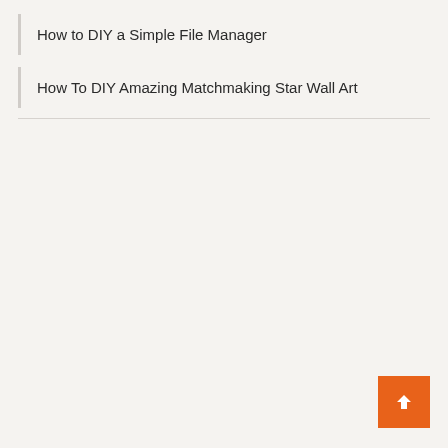How to DIY a Simple File Manager
How To DIY Amazing Matchmaking Star Wall Art